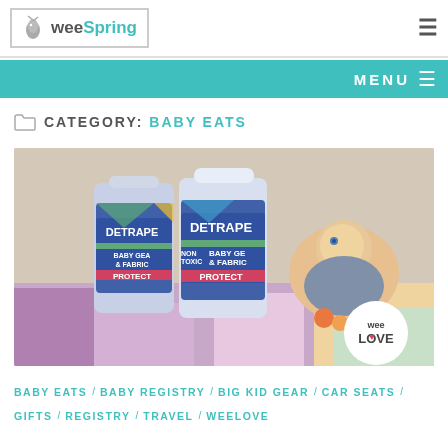weeSpring
MENU
CATEGORY: BABY EATS
[Figure (photo): Two DETRApel Baby Gear & Fabric Protector spray bottles in the foreground, with a baby lying on a colorful play mat in the background. A 'wee LOVE' badge appears in the bottom right corner of the image.]
BABY EATS / BABY REGISTRY / BIG KID GEAR / CAR SEATS / GIFTS / REGISTRY / TRAVEL / WEELOVE